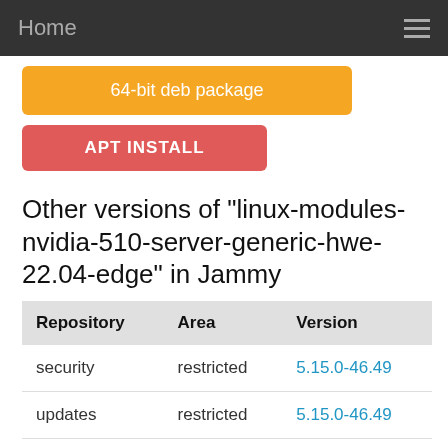Home
64-bit deb package
APT INSTALL
Other versions of "linux-modules-nvidia-510-server-generic-hwe-22.04-edge" in Jammy
| Repository | Area | Version |
| --- | --- | --- |
| security | restricted | 5.15.0-46.49 |
| updates | restricted | 5.15.0-46.49 |
Cha...